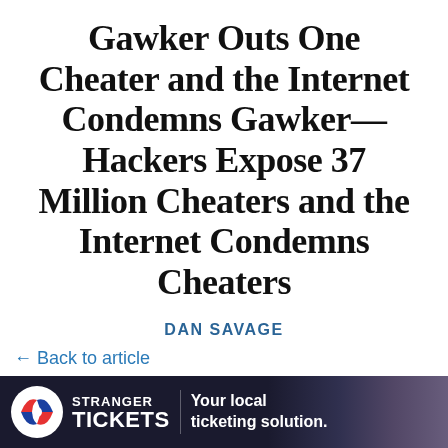Gawker Outs One Cheater and the Internet Condemns Gawker—Hackers Expose 37 Million Cheaters and the Internet Condemns Cheaters
DAN SAVAGE
← Back to article
ments
[Figure (infographic): Advertisement banner for Stranger Tickets — logo with red/blue S icon, text 'STRANGER TICKETS', tagline 'Your local ticketing solution.' on dark background.]